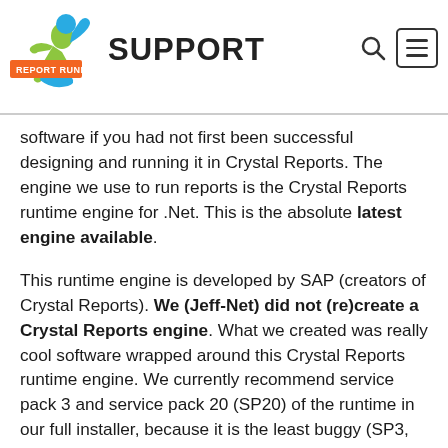REPORT RUNNER SUPPORT
software if you had not first been successful designing and running it in Crystal Reports. The engine we use to run reports is the Crystal Reports runtime engine for .Net. This is the absolute latest engine available.
This runtime engine is developed by SAP (creators of Crystal Reports). We (Jeff-Net) did not (re)create a Crystal Reports engine. What we created was really cool software wrapped around this Crystal Reports runtime engine. We currently recommend service pack 3 and service pack 20 (SP20) of the runtime in our full installer, because it is the least buggy (SP3, more on this shortly), but you can use any service pack/version of the runtime engine with